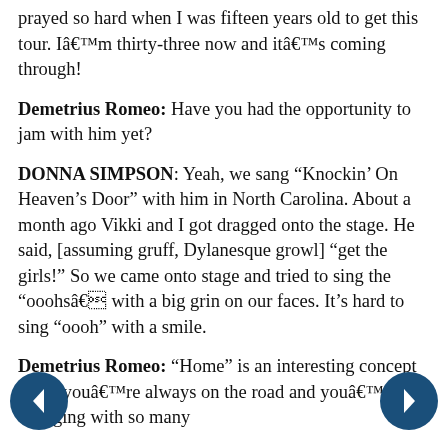prayed so hard when I was fifteen years old to get this tour. Iâm thirty-three now and itâs coming through!
Demetrius Romeo: Have you had the opportunity to jam with him yet?
DONNA SIMPSON: Yeah, we sang âKnockinâ On Heavenâs Doorâ with him in North Carolina. About a month ago Vikki and I got dragged onto the stage. He said, [assuming gruff, Dylanesque growl] âget the girls!â So we came onto stage and tried to sing the âooohsâ with a big grin on our faces. Itâs hard to sing âooohâ with a smile.
Demetrius Romeo: âHomeâ is an interesting concept when youâre always on the road and youâre engaging with so many